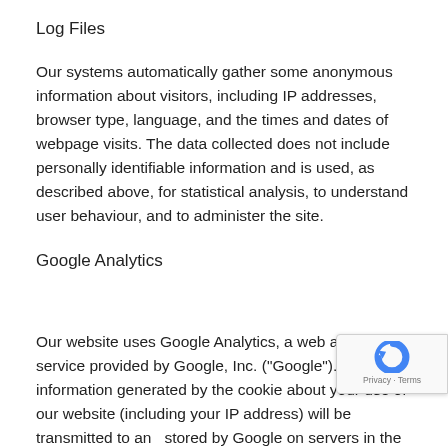Log Files
Our systems automatically gather some anonymous information about visitors, including IP addresses, browser type, language, and the times and dates of webpage visits. The data collected does not include personally identifiable information and is used, as described above, for statistical analysis, to understand user behaviour, and to administer the site.
Google Analytics
Our website uses Google Analytics, a web analytics service provided by Google, Inc. ("Google"). The information generated by the cookie about your use of our website (including your IP address) will be transmitted to and stored by Google on servers in the United States. Go... will use this information for the purpose of evaluatin... use of our website, compiling reports on website activity for...